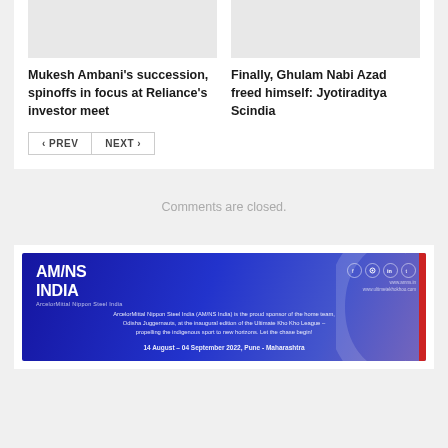[Figure (photo): Thumbnail image placeholder for Mukesh Ambani article]
[Figure (photo): Thumbnail image placeholder for Ghulam Nabi Azad article]
Mukesh Ambani's succession, spinoffs in focus at Reliance's investor meet
Finally, Ghulam Nabi Azad freed himself: Jyotiraditya Scindia
< PREV   NEXT >
Comments are closed.
[Figure (illustration): AM/NS India advertisement banner. ArcelorMittal Nippon Steel India (AM/NS India) is the proud sponsor of the home team, Odisha Juggernauts, at the inaugural edition of the Ultimate Kho Kho League – propelling the indigenous sport to new horizons. Let the chase begin! 14 August – 04 September 2022, Pune - Maharashtra]